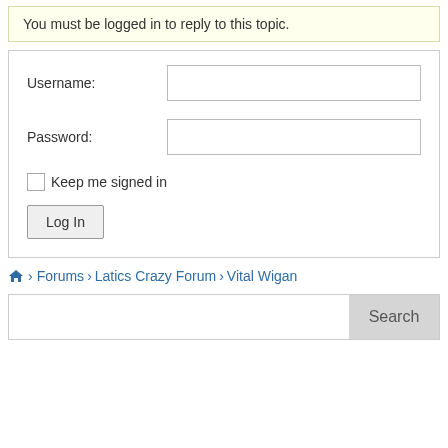You must be logged in to reply to this topic.
Username:
Password:
Keep me signed in
Log In
› Forums › Latics Crazy Forum › Vital Wigan